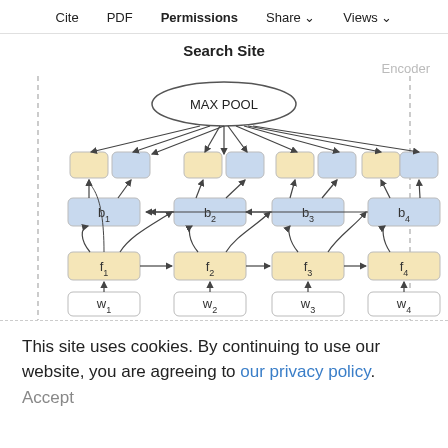Cite  PDF  Permissions  Share  Views
Search Site
Encoder
[Figure (engineering-diagram): Bidirectional RNN encoder diagram with MAX POOL at top. Four time steps with forward units f1, f2, f3, f4 (cream/yellow boxes) and backward units b1, b2, b3, b4 (blue boxes). Each time step has a word input w1, w2, w3, w4 at the bottom (white boxes). Output representations (cream and blue pairs) feed into MAX POOL ellipse. Arrows show forward connections left to right for f units, backward connections right to left for b units, and cross connections from each step to outputs.]
This site uses cookies. By continuing to use our website, you are agreeing to our privacy policy.
Accept